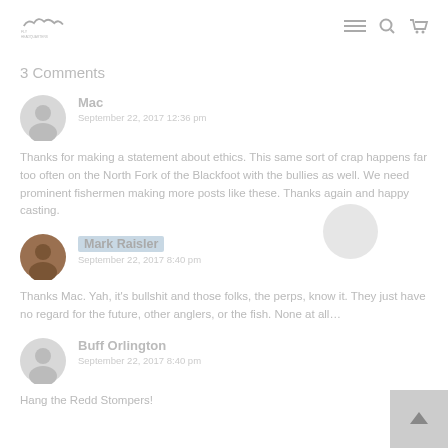Fly Headquarters logo, navigation hamburger, search and cart icons
3 Comments
Mac
September 22, 2017 12:36 pm
Thanks for making a statement about ethics. This same sort of crap happens far too often on the North Fork of the Blackfoot with the bullies as well. We need prominent fishermen making more posts like these. Thanks again and happy casting.
Mark Raisler
September 22, 2017 8:40 pm
Thanks Mac. Yah, it's bullshit and those folks, the perps, know it. They just have no regard for the future, other anglers, or the fish. None at all…
Buff Orlington
September 22, 2017 8:40 pm
Hang the Redd Stompers!